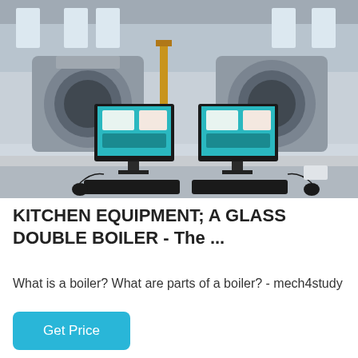[Figure (photo): Industrial boiler room with two large cylindrical autoclave/boiler units on raised platforms, and two computer workstations with monitors showing interface screens in the foreground, keyboards and mice on the desk. Factory/warehouse setting with windows and yellow piping visible.]
KITCHEN EQUIPMENT; A GLASS DOUBLE BOILER - The ...
What is a boiler? What are parts of a boiler? - mech4study
Get Price